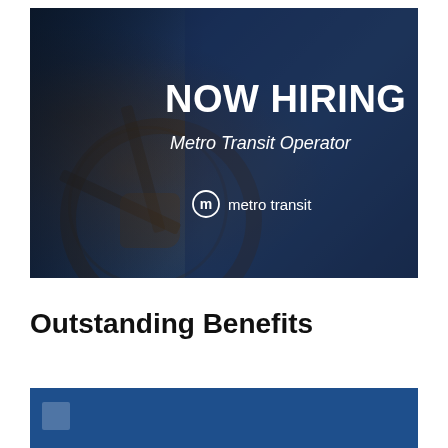[Figure (photo): Photo of a bus driver's cockpit with a steering wheel in the foreground. A dark blue overlay covers the right portion of the image with white text reading 'NOW HIRING Metro Transit Operator' and the metro transit logo.]
Outstanding Benefits
[Figure (infographic): Blue banner bar, beginning of a benefits section with an icon on the left]